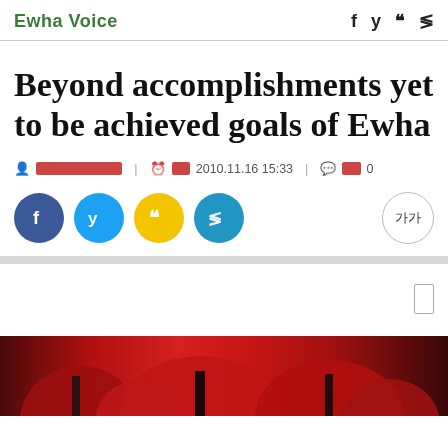Ewha Voice
Beyond accomplishments yet to be achieved goals of Ewha
XXX,XXX,XXX | XX2010.11.16 15:33 | XX 0
[Figure (photo): Autumn red maple trees photo at bottom of article page]
가가 font size button